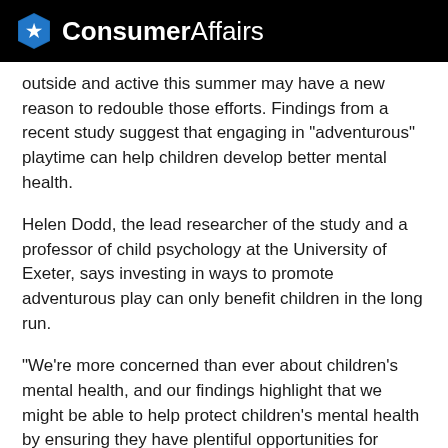ConsumerAffairs
outside and active this summer may have a new reason to redouble those efforts. Findings from a recent study suggest that engaging in "adventurous" playtime can help children develop better mental health.
Helen Dodd, the lead researcher of the study and a professor of child psychology at the University of Exeter, says investing in ways to promote adventurous play can only benefit children in the long run.
"We're more concerned than ever about children's mental health, and our findings highlight that we might be able to help protect children's mental health by ensuring they have plentiful opportunities for adventurous play," she said.